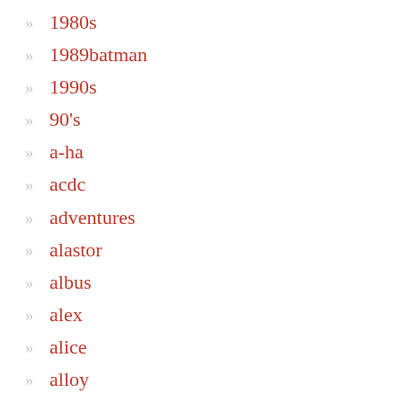1980s
1989batman
1990s
90's
a-ha
acdc
adventures
alastor
albus
alex
alice
alloy
almost
amblin
andras